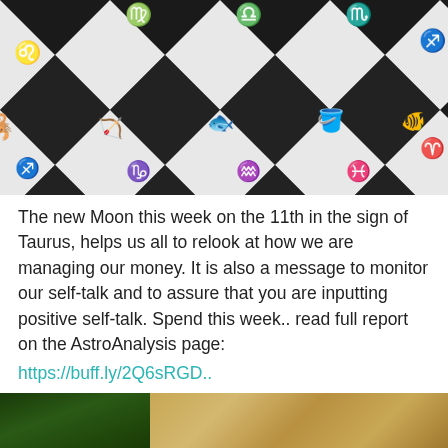[Figure (illustration): Black and white diamond checkerboard pattern with zodiac symbols (Leo, Virgo, Libra, Scorpio, Sagittarius, Capricorn, Aquarius, Pisces, Aries) as white line drawings on black diamonds, and colorful illustrated zodiac animal/symbol icons on white diamonds.]
The new Moon this week on the 11th in the sign of Taurus, helps us all to relook at how we are managing our money. It is also a message to monitor our self-talk and to assure that you are inputting positive self-talk. Spend this week.. read full report on the AstroAnalysis page: https://buff.ly/2Q6sRGD..
[Figure (photo): Bottom strip showing partial image: left side green background, right side golden/tan colored subject (appears to be an animal).]